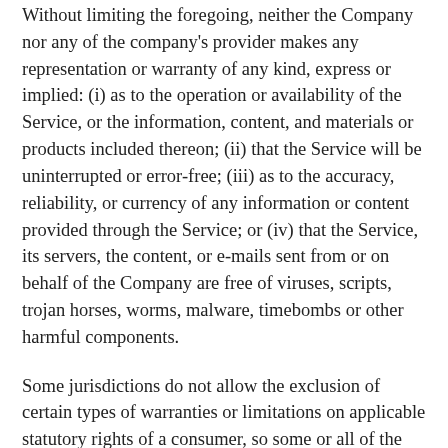Without limiting the foregoing, neither the Company nor any of the company's provider makes any representation or warranty of any kind, express or implied: (i) as to the operation or availability of the Service, or the information, content, and materials or products included thereon; (ii) that the Service will be uninterrupted or error-free; (iii) as to the accuracy, reliability, or currency of any information or content provided through the Service; or (iv) that the Service, its servers, the content, or e-mails sent from or on behalf of the Company are free of viruses, scripts, trojan horses, worms, malware, timebombs or other harmful components.
Some jurisdictions do not allow the exclusion of certain types of warranties or limitations on applicable statutory rights of a consumer, so some or all of the above exclusions and limitations may not apply to You. But in